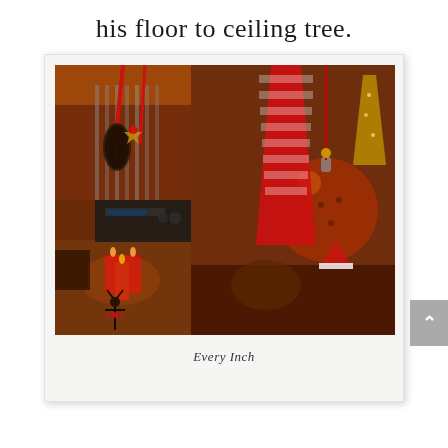his floor to ceiling tree.
[Figure (photo): A polaroid-style photo collage of Christmas decorations: top-left shows hanging ornaments and tin decor with red ribbons; bottom-left shows candles and reindeer figurines with red bows and warm lighting; the right large panel shows close-up of red-and-white checked fabric ornament and large brown glass ball ornament hanging, with festive holiday items in background.]
Every Inch